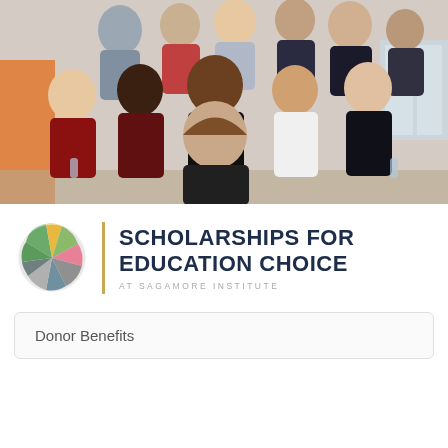[Figure (photo): Group photo of approximately 12 students posing together in a classroom setting, smiling and making gestures. Students wearing various school spirit t-shirts and casual clothing. American flag and classroom decorations visible in the background.]
[Figure (logo): Scholarships for Education Choice at Sagamore Institute logo. Features a globe made of colored puzzle pieces (green, gold, pink, gray, blue) on the left, a gold vertical divider bar, and text reading SCHOLARSHIPS FOR EDUCATION CHOICE with at SAGAMORE INSTITUTE below in smaller text.]
Donor Benefits